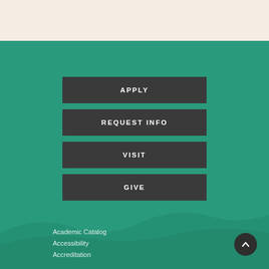[Figure (photo): Top beige/cream band with partial image of a decorative item at top center]
APPLY
REQUEST INFO
VISIT
GIVE
Academic Catalog
Accessibility
Accreditation